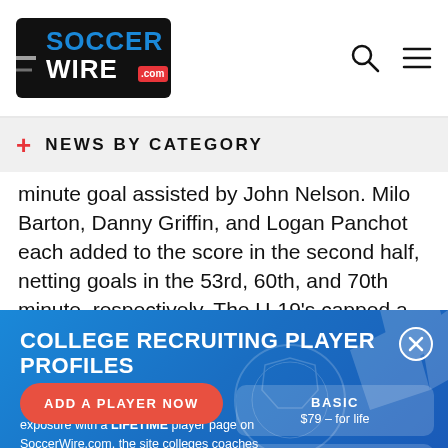SoccerWire.com logo with search and menu icons
NEWS BY CATEGORY
minute goal assisted by John Nelson. Milo Barton, Danny Griffin, and Logan Panchot each added to the score in the second half, netting goals in the 53rd, 60th, and 70th minute, respectively. The U-19's capped a strong 4-0 performance with a shut out for goalkeeper
COLLEGE RECRUITING PLAYER PROFILES
Boost your college recruiting profile exposure with a LIFETIME player page on SoccerWire.com, the site colleges coaches rely on.
| Plan | Price |
| --- | --- |
| BASIC | $79 – for life |
| FEATURED | $229 – for life |
| FEATURED PLUS | $349 – for life |
ADD A PLAYER NOW